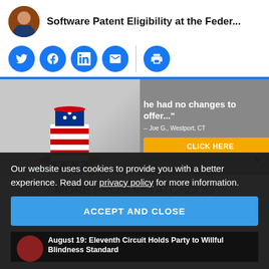Software Patent Eligibility at the Feder...
[Figure (infographic): Social media share buttons: Twitter, Facebook, LinkedIn, Email, Print — all in blue circles with a vertical divider before the print icon]
[Figure (infographic): Advertisement banner: Uncle Sam hat on left gray background, right side dark gray with quote text 'he had no changes to offer...' attributed to '-- Joe G., Westport, CT' and a yellow 'CLICK HERE' button]
MORE FROM IPWATCHDOG
Our website uses cookies to provide you with a better experience. Read our privacy policy for more information.
ACCEPT AND CLOSE
August 19: Eleventh Circuit Holds Party to Willful Blindness Standard